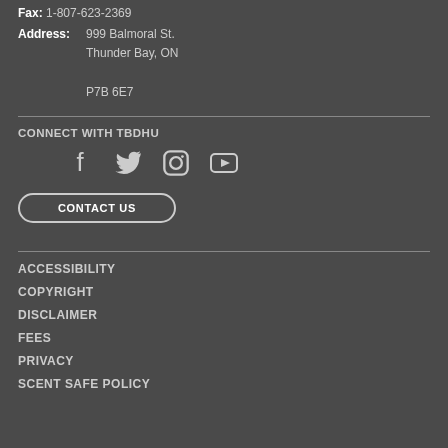Fax: 1-807-623-2369
Address: 999 Balmoral St. Thunder Bay, ON P7B 6E7
CONNECT WITH TBDHU
[Figure (illustration): Social media icons: Facebook, Twitter, Instagram, YouTube]
CONTACT US
ACCESSIBILITY
COPYRIGHT
DISCLAIMER
FEES
PRIVACY
SCENT SAFE POLICY